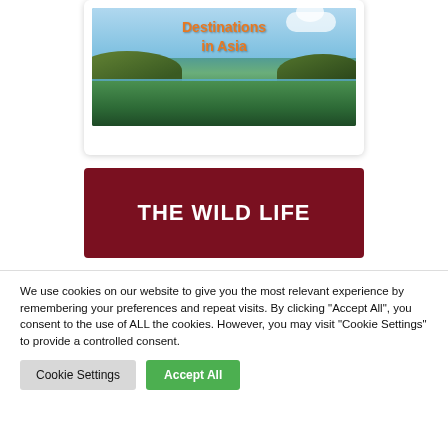[Figure (photo): A travel photo card showing a tropical island scene in Asia with turquoise water, jungle-covered islands, and text overlay reading 'Destinations in Asia' in orange stylized font]
THE WILD LIFE
We use cookies on our website to give you the most relevant experience by remembering your preferences and repeat visits. By clicking "Accept All", you consent to the use of ALL the cookies. However, you may visit "Cookie Settings" to provide a controlled consent.